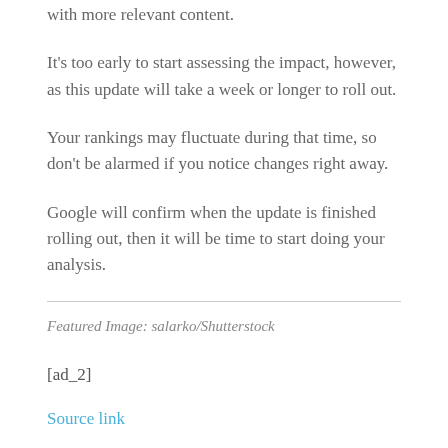with more relevant content.
It's too early to start assessing the impact, however, as this update will take a week or longer to roll out.
Your rankings may fluctuate during that time, so don't be alarmed if you notice changes right away.
Google will confirm when the update is finished rolling out, then it will be time to start doing your analysis.
Featured Image: salarko/Shutterstock
[ad_2]
Source link